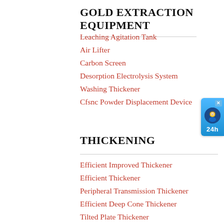GOLD EXTRACTION EQUIPMENT
Leaching Agitation Tank
Air Lifter
Carbon Screen
Desorption Electrolysis System
Washing Thickener
Cfsnc Powder Displacement Device
THICKENING
Efficient Improved Thickener
Efficient Thickener
Peripheral Transmission Thickener
Efficient Deep Cone Thickener
Tilted Plate Thickener
Hydraulic Motor Driving Center Thickener
[Figure (illustration): 24h live chat support widget with avatar icon, blue background]